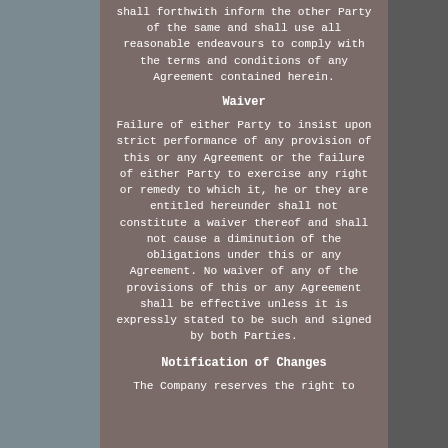shall forthwith inform the other Party of the same and shall use all reasonable endeavours to comply with the terms and conditions of any Agreement contained herein.
Waiver
Failure of either Party to insist upon strict performance of any provision of this or any Agreement or the failure of either Party to exercise any right or remedy to which it, he or they are entitled hereunder shall not constitute a waiver thereof and shall not cause a diminution of the obligations under this or any Agreement. No waiver of any of the provisions of this or any Agreement shall be effective unless it is expressly stated to be such and signed by both Parties.
Notification of Changes
The Company reserves the right to